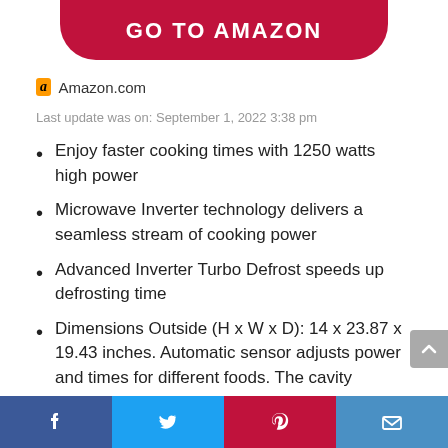[Figure (other): Red rounded button labeled GO TO AMAZON]
Amazon.com
Last update was on: September 1, 2022 3:38 pm
Enjoy faster cooking times with 1250 watts high power
Microwave Inverter technology delivers a seamless stream of cooking power
Advanced Inverter Turbo Defrost speeds up defrosting time
Dimensions Outside (H x W x D): 14 x 23.87 x 19.43 inches. Automatic sensor adjusts power and times for different foods. The cavity dimensions
Social share bar: Facebook, Twitter, Pinterest, Email